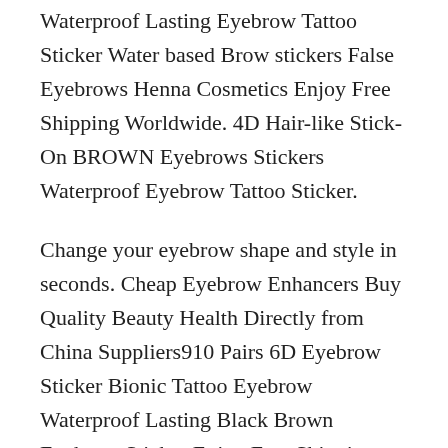Waterproof Lasting Eyebrow Tattoo Sticker Water based Brow stickers False Eyebrows Henna Cosmetics Enjoy Free Shipping Worldwide. 4D Hair-like Stick-On BROWN Eyebrows Stickers Waterproof Eyebrow Tattoo Sticker.
Change your eyebrow shape and style in seconds. Cheap Eyebrow Enhancers Buy Quality Beauty Health Directly from China Suppliers910 Pairs 6D Eyebrow Sticker Bionic Tattoo Eyebrow Waterproof Lasting Black Brown Eyebrow Sticker Enjoy Free Shipping Worldwide. HENNA EYEBROW EYELASH TINT Long Lasting Brow Dye Kit Cream